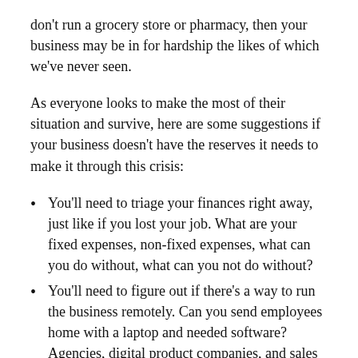don't run a grocery store or pharmacy, then your business may be in for hardship the likes of which we've never seen.
As everyone looks to make the most of their situation and survive, here are some suggestions if your business doesn't have the reserves it needs to make it through this crisis:
You'll need to triage your finances right away, just like if you lost your job. What are your fixed expenses, non-fixed expenses, what can you do without, what can you not do without?
You'll need to figure out if there's a way to run the business remotely. Can you send employees home with a laptop and needed software? Agencies, digital product companies, and sales organizations would be the most likely candidates for this.